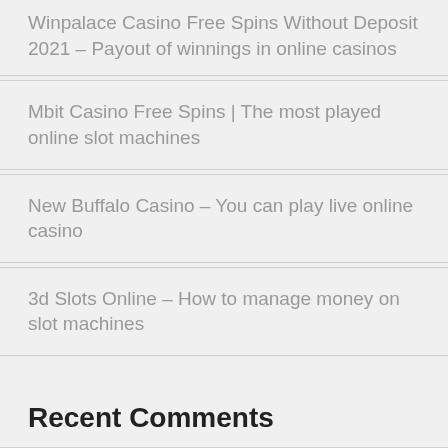Winpalace Casino Free Spins Without Deposit 2021 – Payout of winnings in online casinos
Mbit Casino Free Spins | The most played online slot machines
New Buffalo Casino – You can play live online casino
3d Slots Online – How to manage money on slot machines
Recent Comments